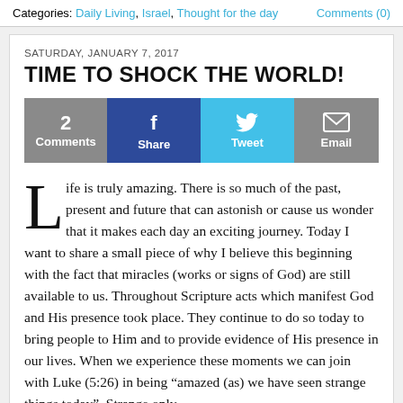Categories: Daily Living, Israel, Thought for the day    Comments (0)
SATURDAY, JANUARY 7, 2017
TIME TO SHOCK THE WORLD!
[Figure (infographic): Social sharing bar with 4 buttons: '2 Comments' (gray), 'Share' with Facebook icon (dark blue), 'Tweet' with Twitter bird icon (light blue), 'Email' with envelope icon (gray)]
Life is truly amazing. There is so much of the past, present and future that can astonish or cause us wonder that it makes each day an exciting journey. Today I want to share a small piece of why I believe this beginning with the fact that miracles (works or signs of God) are still available to us. Throughout Scripture acts which manifest God and His presence took place. They continue to do so today to bring people to Him and to provide evidence of His presence in our lives. When we experience these moments we can join with Luke (5:26) in being “amazed (as) we have seen strange things today”. Strange only